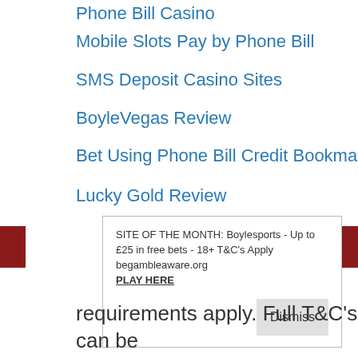Phone Bill Casino
Mobile Slots Pay by Phone Bill
SMS Deposit Casino Sites
BoyleVegas Review
Bet Using Phone Bill Credit Bookmakers
Lucky Gold Review
Boku Mobile Casino Deposit
Minimum Deposit Casino Sites
SITE OF THE MONTH: Boylesports - Up to £25 in free bets - 18+ T&C's Apply begambleaware.org
PLAY HERE
Dismiss
requirements apply. Full T&C's can be